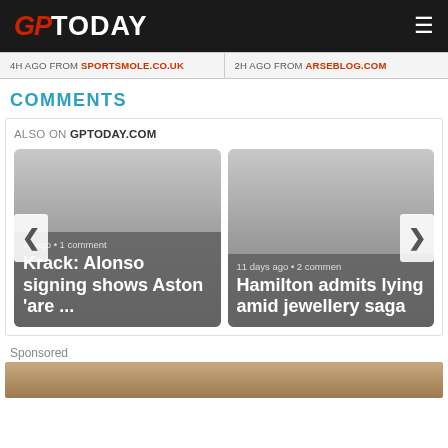GP TODAY
4H AGO FROM SPORTSMOLE.CO.UK   2H AGO FROM ARSEBLOG.COM
COMMENTS
ALSO ON GPTODAY.COM
[Figure (screenshot): Two article preview cards: 1) 'Krack: Alonso signing shows Aston are ...' with '...ys ago • 1 comment' and 2) 'Hamilton admits lying amid jewellery saga' with '11 days ago • 2 commen...' Navigation arrows on left and right.]
Sponsored